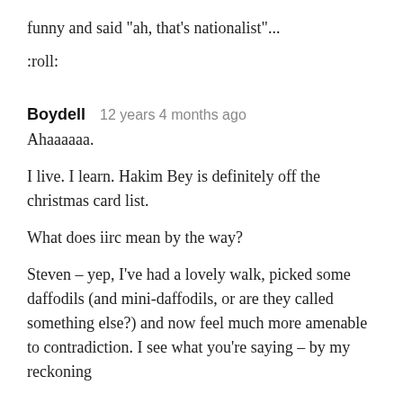funny and said "ah, that's nationalist"...
:roll:
Boydell   12 years 4 months ago
Ahaaaaaa.

I live. I learn. Hakim Bey is definitely off the christmas card list.

What does iirc mean by the way?

Steven - yep, I've had a lovely walk, picked some daffodils (and mini-daffodils, or are they called something else?) and now feel much more amenable to contradiction. I see what you're saying - by my reckoning